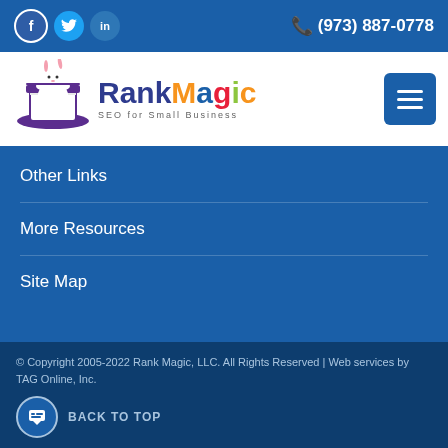(973) 887-0778
[Figure (logo): Rank Magic SEO for Small Business logo with rabbit in magician hat]
Other Links
More Resources
Site Map
© Copyright 2005-2022 Rank Magic, LLC. All Rights Reserved | Web services by TAG Online, Inc.
BACK TO TOP